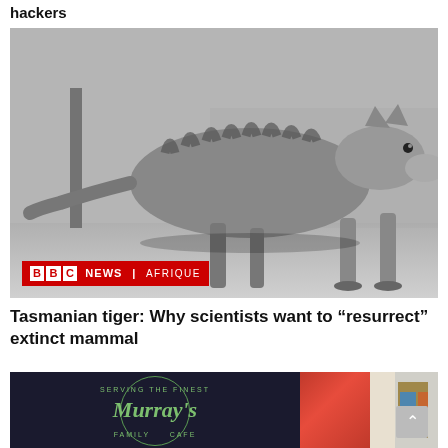hackers
[Figure (photo): Black and white photograph of a Tasmanian tiger (thylacine) standing in what appears to be a zoo enclosure, showing its distinctive striped back. BBC NEWS | AFRIQUE logo overlay in bottom left corner.]
Tasmanian tiger: Why scientists want to “resurrect” extinct mammal
[Figure (photo): Two side-by-side thumbnail images: left shows Murray's restaurant/shop sign in green text on dark background with circular logo border; right shows an interior with red wall/door and colorful object, plus a grey scroll-to-top button.]